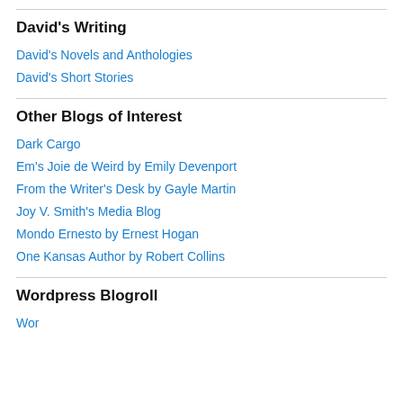David's Writing
David's Novels and Anthologies
David's Short Stories
Other Blogs of Interest
Dark Cargo
Em's Joie de Weird by Emily Devenport
From the Writer's Desk by Gayle Martin
Joy V. Smith's Media Blog
Mondo Ernesto by Ernest Hogan
One Kansas Author by Robert Collins
Wordpress Blogroll